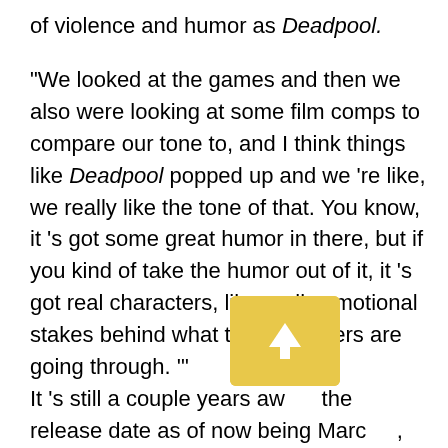of violence and humor as Deadpool.
“We looked at the games and then we also were looking at some film comps to compare our tone to, and I think things like Deadpool popped up and we ’re like, we really like the tone of that. You know, it ’s got some great humor in there, but if you kind of take the humor out of it, it ’s got real characters, like really emotional stakes behind what the characters are going through. ’” It ’s still a couple years awa[...] the release date as of now being Marc[...], but it sounds like it ’s definitely going to be a movie worth getting excited about. Admittedly I ’m already there. It ’s so early but I ’m so goddamn stoked,
[Figure (other): Golden/yellow rounded rectangle button with a white upward-pointing arrow icon, overlaying the text]